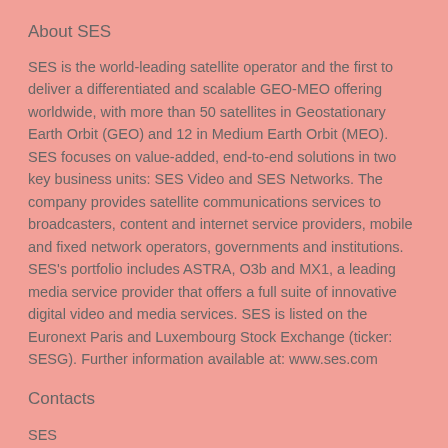About SES
SES is the world-leading satellite operator and the first to deliver a differentiated and scalable GEO-MEO offering worldwide, with more than 50 satellites in Geostationary Earth Orbit (GEO) and 12 in Medium Earth Orbit (MEO). SES focuses on value-added, end-to-end solutions in two key business units: SES Video and SES Networks. The company provides satellite communications services to broadcasters, content and internet service providers, mobile and fixed network operators, governments and institutions. SES's portfolio includes ASTRA, O3b and MX1, a leading media service provider that offers a full suite of innovative digital video and media services. SES is listed on the Euronext Paris and Luxembourg Stock Exchange (ticker: SESG). Further information available at: www.ses.com
Contacts
SES
Markus Payer
Corporate Communications & PR